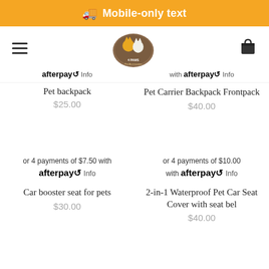🚚 Mobile-only text
[Figure (logo): Pet accessories store logo - oval shape with cats/dogs illustration and '4 Paws Pet Accessories' text]
afterpay Info | with afterpay Info
Pet backpack
$25.00
Pet Carrier Backpack Frontpack
$40.00
or 4 payments of $7.50 with afterpay Info
or 4 payments of $10.00 with afterpay Info
Car booster seat for pets
$30.00
2-in-1 Waterproof Pet Car Seat Cover with seat bel
$40.00